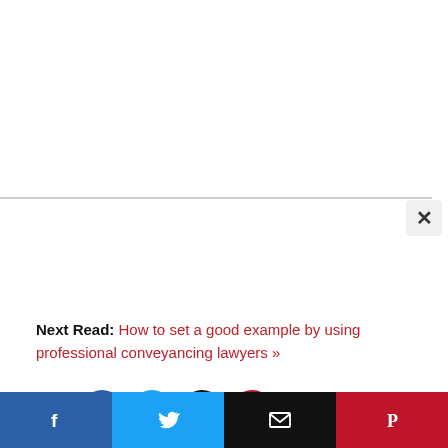Next Read: How to set a good example by using professional conveyancing lawyers »
[Figure (infographic): Social share icons row: share symbol, Facebook (blue circle with f), Twitter (light blue circle with bird), Email (black circle with envelope), Pinterest (dark red circle with P), and scroll-to-top arrow button (grey circle)]
[Figure (infographic): Bottom sticky bar with four share buttons: Facebook (blue, f), Twitter (light blue, bird), Email (black, envelope), Pinterest (red, P)]